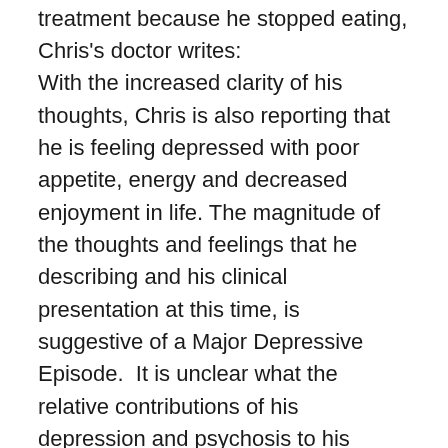withdrawing from his university, and having narrowly avoided electroshock treatment because he stopped eating, Chris's doctor writes: With the increased clarity of his thoughts, Chris is also reporting that he is feeling depressed with poor appetite, energy and decreased enjoyment in life. The magnitude of the thoughts and feelings that he describing and his clinical presentation at this time, is suggestive of a Major Depressive Episode.  It is unclear what the relative contributions of his depression and psychosis to his overall clinical presentation at this time. Depression can occur with psychosis and the depression is treatable with the addition of medication [forbes5] to target his mood, energy and appetite symptoms. With your consent, we propose to add Venlafaxine (also known as